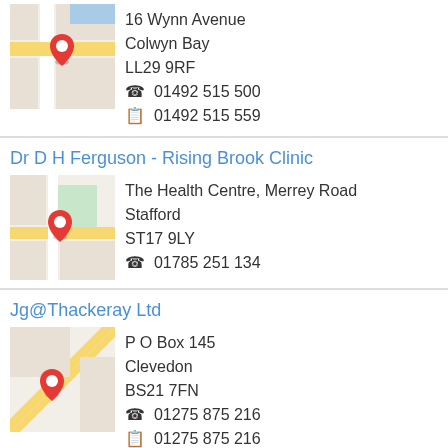16 Wynn Avenue
Colwyn Bay
LL29 9RF
☎ 01492 515 500
📠 01492 515 559
[Figure (map): Map thumbnail showing location marker for 16 Wynn Avenue, Colwyn Bay]
Dr D H Ferguson - Rising Brook Clinic
[Figure (map): Map thumbnail showing location marker for The Health Centre, Merrey Road, Stafford]
The Health Centre, Merrey Road
Stafford
ST17 9LY
☎ 01785 251 134
Jg@Thackeray Ltd
[Figure (map): Map thumbnail showing location marker for P O Box 145, Clevedon]
P O Box 145
Clevedon
BS21 7FN
☎ 01275 875 216
📠 01275 875 216
El Kiet Ltd